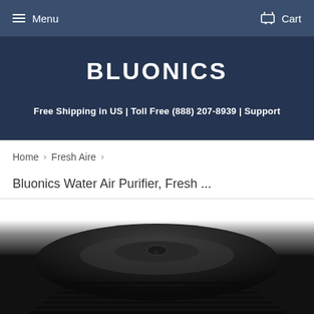Menu  Cart
BLUONICS
Free Shipping in US | Toll Free (888) 207-8939 | Support
Home › Fresh Aire ›
Bluonics Water Air Purifier, Fresh ...
[Figure (photo): Top view of a black Bluonics Water Air Purifier device, showing the rounded top surface with control buttons and vents.]